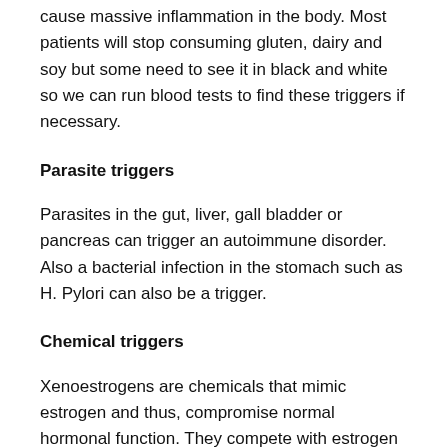cause massive inflammation in the body. Most patients will stop consuming gluten, dairy and soy but some need to see it in black and white so we can run blood tests to find these triggers if necessary.
Parasite triggers
Parasites in the gut, liver, gall bladder or pancreas can trigger an autoimmune disorder. Also a bacterial infection in the stomach such as H. Pylori can also be a trigger.
Chemical triggers
Xenoestrogens are chemicals that mimic estrogen and thus, compromise normal hormonal function. They compete with estrogen on the estrogen receptor sites of the cell. Studies have proven that xenoestrogens cause cancer!